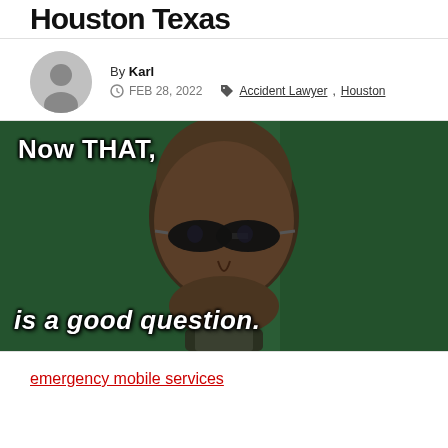Houston Texas
By Karl  FEB 28, 2022  Accident Lawyer, Houston
[Figure (photo): Meme image of a serious-looking bald man with dark sunglasses against a green background, with white bold text reading 'Now THAT, is a good question.']
emergency mobile services